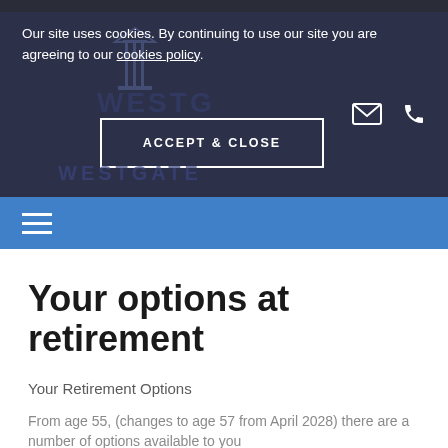Our site uses cookies. By continuing to use our site you are agreeing to our cookies policy.
[Figure (screenshot): Cookie accept button with text ACCEPT & CLOSE in white outlined box on dark background]
[Figure (logo): Westgate financial logo with building/columns icon and text WESTGATE]
Your options at retirement
Your Retirement Options
From age 55, (changes to age 57 from April 2028) there are a number of options available to you